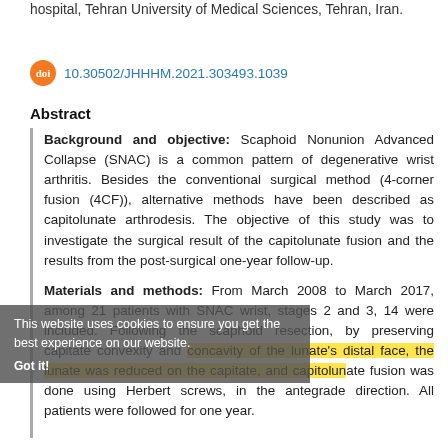hospital, Tehran University of Medical Sciences, Tehran, Iran.
doi 10.30502/JHHHM.2021.303493.1039
Abstract
Background and objective: Scaphoid Nonunion Advanced Collapse (SNAC) is a common pattern of degenerative wrist arthritis. Besides the conventional surgical method (4-corner fusion (4CF)), alternative methods have been described as capitolunate arthrodesis. The objective of this study was to investigate the surgical result of the capitolunate fusion and the results from the post-surgical one-year follow-up.
Materials and methods: From March 2008 to March 2017, among 21 patients with SNAC wrist, stages 2 and 3, 14 were included. Following the scaphoid resection, by preserving capitate convexity and concavity of the lunate's distal face, the lunate was reduced on the capitate, and capitolunate fusion was done using Herbert screws, in the antegrade direction. All patients were followed for one year.